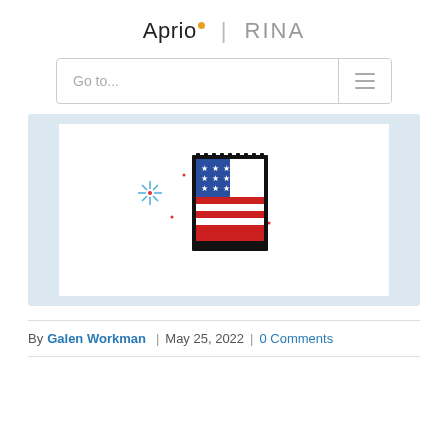Aprio | RINA
[Figure (screenshot): Navigation bar with 'Go to...' placeholder text and hamburger menu icon]
[Figure (illustration): American flag postage stamp illustration with fireworks/sparkle decorations on light blue background]
By Galen Workman | May 25, 2022 | 0 Comments